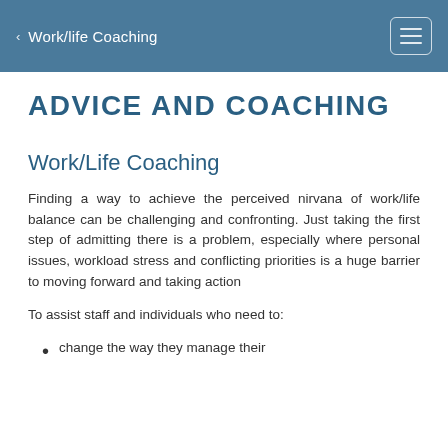Work/life Coaching
ADVICE AND COACHING
Work/Life Coaching
Finding a way to achieve the perceived nirvana of work/life balance can be challenging and confronting. Just taking the first step of admitting there is a problem, especially where personal issues, workload stress and conflicting priorities is a huge barrier to moving forward and taking action
To assist staff and individuals who need to:
change the way they manage their